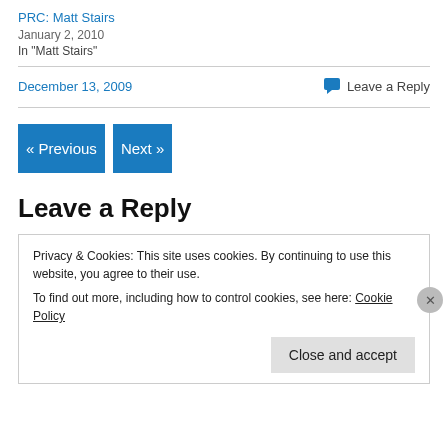PRC: Matt Stairs
January 2, 2010
In "Matt Stairs"
December 13, 2009
Leave a Reply
« Previous
Next »
Leave a Reply
Privacy & Cookies: This site uses cookies. By continuing to use this website, you agree to their use.
To find out more, including how to control cookies, see here: Cookie Policy
Close and accept